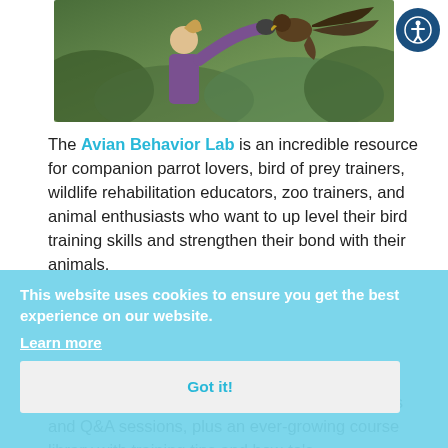[Figure (photo): A person with a ponytail in a purple top holds their gloved arm out to a large bird of prey with spread wings, against a green shrubby background]
The Avian Behavior Lab is an incredible resource for companion parrot lovers, bird of prey trainers, wildlife rehabilitation educators, zoo trainers, and animal enthusiasts who want to up level their bird training skills and strengthen their bond with their animals.
This website uses cookies to ensure you get the best experience on our website.
Learn more
Got it!
With an extensive community forum, exclusive Facebook Groups, focused monthly web classes and Q&A sessions, plus an ever-growing course library with training tips and how-to's,